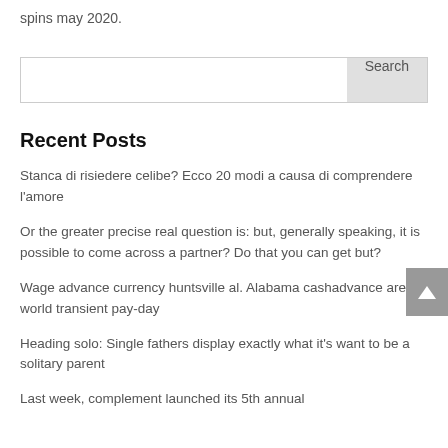spins may 2020.
[Figure (screenshot): Search input box with a 'Search' button on the right side]
Recent Posts
Stanca di risiedere celibe? Ecco 20 modi a causa di comprendere l’amore
Or the greater precise real question is: but, generally speaking, it is possible to come across a partner? Do that you can get but?
Wage advance currency huntsville al. Alabama cashadvance are in world transient pay-day
Heading solo: Single fathers display exactly what it’s want to be a solitary parent
Last week, complement launched its 5th annual